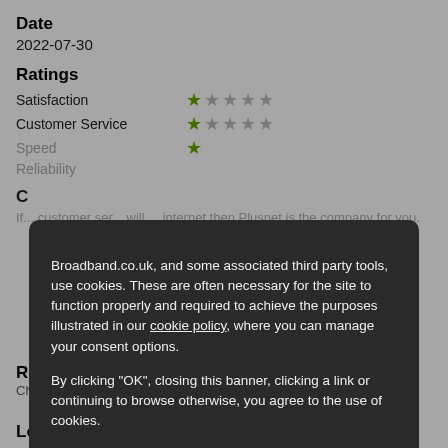Date
2022-07-30
Ratings
Satisfaction — 1/5 stars
Customer Service — 1/5 stars
Speed — (partially visible)
Reliability — (partially visible)
C... (Comment section, partially obscured)
If... (text partially obscured by cookie banner)
[Figure (screenshot): Cookie consent modal overlay with dark background. Text: 'Broadband.co.uk, and some associated third party tools, use cookies. These are often necessary for the site to function properly and required to achieve the purposes illustrated in our cookie policy, where you can manage your consent options. By clicking "OK", closing this banner, clicking a link or continuing to browse otherwise, you agree to the use of cookies.' Link: 'Read our privacy policy'. Green OK button.]
Revi...
Chrisu...
Location